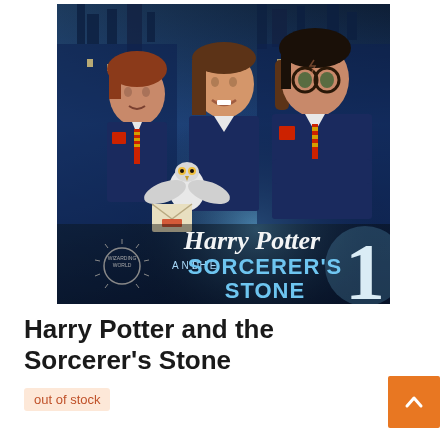[Figure (photo): Movie poster for Harry Potter and the Sorcerer's Stone (Book 1). Shows three young characters in Hogwarts uniforms — Ron Weasley on the left with red hair, Hermione Granger in the center smiling, and Harry Potter on the right wearing glasses — against a blue-toned castle background. The title 'Harry Potter and the Sorcerer's Stone' is displayed in silver/blue stylized text with a large '1' and the Wizarding World logo.]
Harry Potter and the Sorcerer's Stone
out of stock